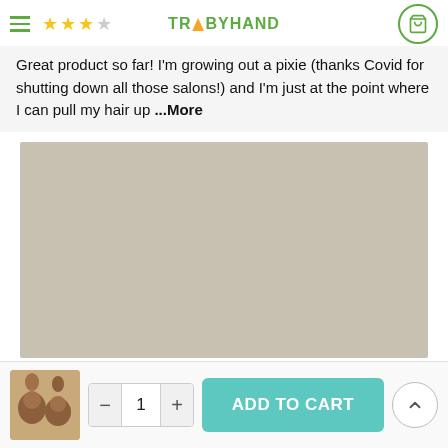TRABYHAND
Great product so far! I'm growing out a pixie (thanks Covid for shutting down all those salons!) and I'm just at the point where I can pull my hair up ...More
[Figure (photo): Close-up photo showing a beige/taupe painted wall texture, plain background]
[Figure (photo): Thumbnail product image showing hair bun accessories]
ADD TO CART